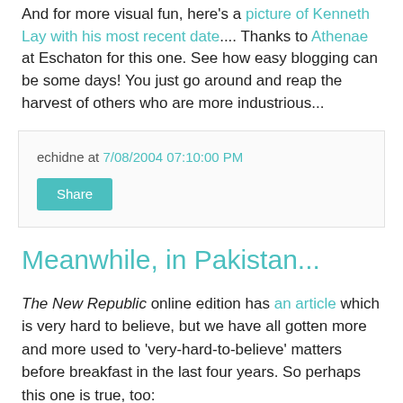And for more visual fun, here's a picture of Kenneth Lay with his most recent date.... Thanks to Athenae at Eschaton for this one. See how easy blogging can be some days! You just go around and reap the harvest of others who are more industrious...
echidne at 7/08/2004 07:10:00 PM
Share
Meanwhile, in Pakistan...
The New Republic online edition has an article which is very hard to believe, but we have all gotten more and more used to 'very-hard-to-believe' matters before breakfast in the last four years. So perhaps this one is true, too: